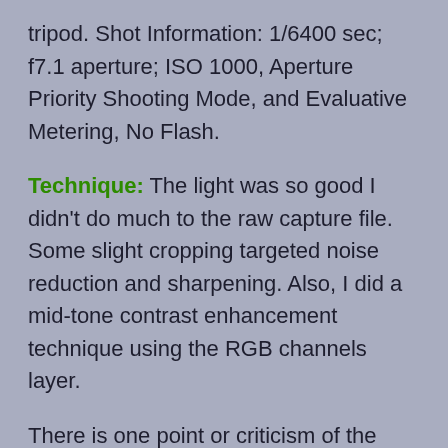tripod. Shot Information: 1/6400 sec; f7.1 aperture; ISO 1000, Aperture Priority Shooting Mode, and Evaluative Metering, No Flash.
Technique: The light was so good I didn't do much to the raw capture file. Some slight cropping targeted noise reduction and sharpening. Also, I did a mid-tone contrast enhancement technique using the RGB channels layer.
There is one point or criticism of the image that I know of, but it couldn't be helped. I am interested in seeing if anyone mentions it.
My Response To My Fellow Study Group Participants Critiques: